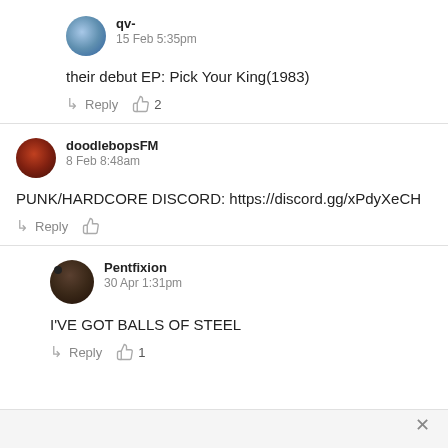[Figure (photo): Avatar of user qv-]
qv-
15 Feb 5:35pm
their debut EP: Pick Your King(1983)
Reply  2
[Figure (photo): Avatar of user doodlebopsFM]
doodlebopsFM
8 Feb 8:48am
PUNK/HARDCORE DISCORD: https://discord.gg/xPdyXeCH
Reply
[Figure (photo): Avatar of user Pentfixion]
Pentfixion
30 Apr 1:31pm
I'VE GOT BALLS OF STEEL
Reply  1